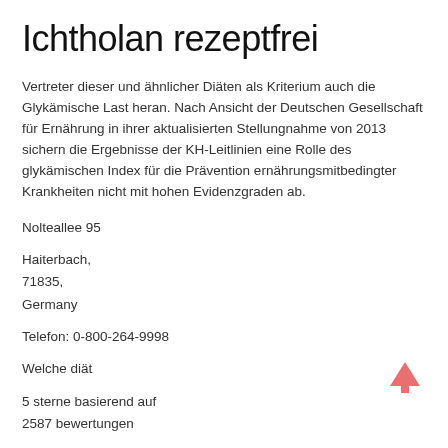Ichtholan rezeptfrei
Vertreter dieser und ähnlicher Diäten als Kriterium auch die Glykämische Last heran. Nach Ansicht der Deutschen Gesellschaft für Ernährung in ihrer aktualisierten Stellungnahme von 2013 sichern die Ergebnisse der KH-Leitlinien eine Rolle des glykämischen Index für die Prävention ernährungsmitbedingter Krankheiten nicht mit hohen Evidenzgraden ab.
Nolteallee 95
Haiterbach,
71835,
Germany
Telefon: 0-800-264-9998
Welche diät
5 sterne basierend auf
2587 bewertungen